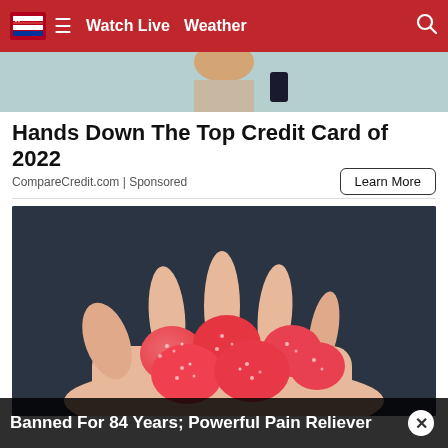Watch Live  Weather
[Figure (photo): Top portion of advertisement image showing a person holding a phone with teal/light background]
Hands Down The Top Credit Card of 2022
CompareCredit.com | Sponsored
Learn More
[Figure (photo): Close-up photo of multiple red sugary gummy candies held in an open palm against a dark background]
Banned For 84 Years; Powerful Pain Reliever